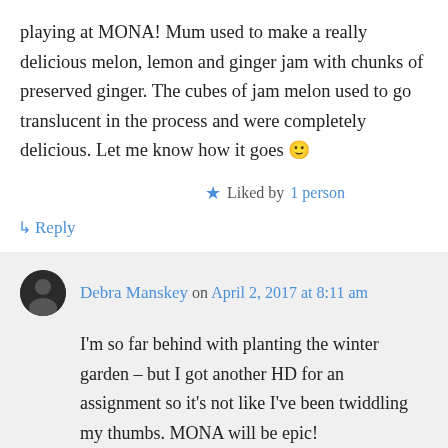playing at MONA! Mum used to make a really delicious melon, lemon and ginger jam with chunks of preserved ginger. The cubes of jam melon used to go translucent in the process and were completely delicious. Let me know how it goes 🙂
★ Liked by 1 person
↳ Reply
Debra Manskey on April 2, 2017 at 8:11 am
I'm so far behind with planting the winter garden – but I got another HD for an assignment so it's not like I've been twiddling my thumbs. MONA will be epic!